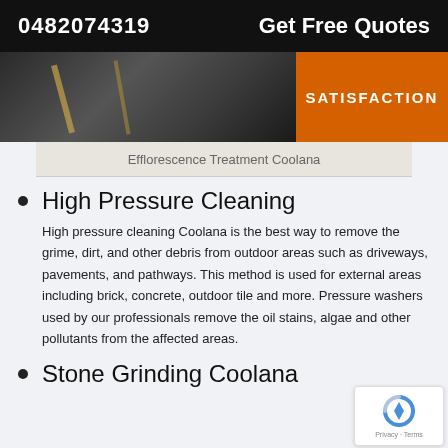0482074319   Get Free Quotes
[Figure (photo): Efflorescence treatment surface with orange SATISFACTION badge overlay]
Efflorescence Treatment Coolana
High Pressure Cleaning
High pressure cleaning Coolana is the best way to remove the grime, dirt, and other debris from outdoor areas such as driveways, pavements, and pathways. This method is used for external areas including brick, concrete, outdoor tile and more. Pressure washers used by our professionals remove the oil stains, algae and other pollutants from the affected areas.
Stone Grinding Coolana